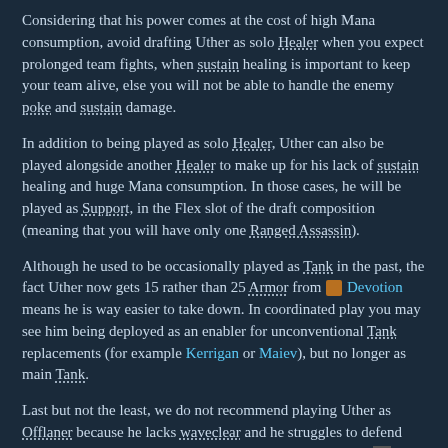Considering that his power comes at the cost of high Mana consumption, avoid drafting Uther as solo Healer when you expect prolonged team fights, when sustain healing is important to keep your team alive, else you will not be able to handle the enemy poke and sustain damage.
In addition to being played as solo Healer, Uther can also be played alongside another Healer to make up for his lack of sustain healing and huge Mana consumption. In those cases, he will be played as Support, in the Flex slot of the draft composition (meaning that you will have only one Ranged Assassin).
Although he used to be occasionally played as Tank in the past, the fact Uther now gets 15 rather than 25 Armor from [Devotion icon] Devotion means he is way easier to take down. In coordinated play you may see him being deployed as an enabler for unconventional Tank replacements (for example Kerrigan or Maiev), but no longer as main Tank.
Last but not the least, we do not recommend playing Uther as Offlaner because he lacks waveclear and he struggles to defend Mercenary Camps as well. Doing this would be a huge weakness for your team composition, even on 2-lane Maps.
5. Chara...